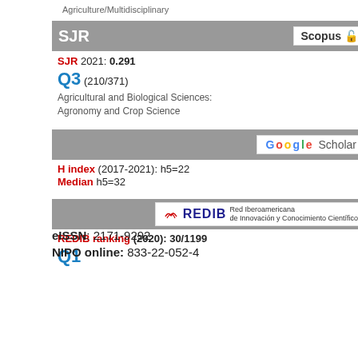Agriculture/Multidisciplinary
SJR  Scopus
SJR 2021: 0.291
Q3 (210/371)
Agricultural and Biological Sciences: Agronomy and Crop Science
Google Scholar
H index (2017-2021): h5=22
Median h5=32
REDIB Red Iberoamericana de Innovación y Conocimiento Científico
REDIB ranking (2020): 30/1199
Q1
eISSN: 2171-9292
NIPO online: 833-22-052-4